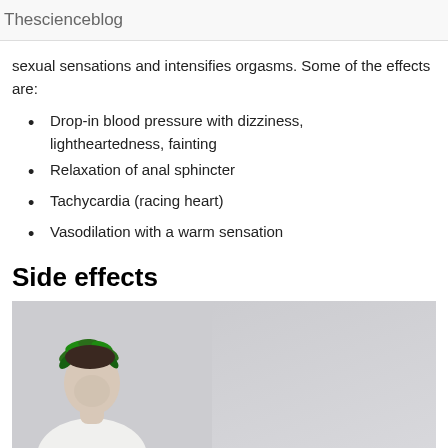Thescienceblog
sexual sensations and intensifies orgasms. Some of the effects are:
Drop-in blood pressure with dizziness, lightheartedness, fainting
Relaxation of anal sphincter
Tachycardia (racing heart)
Vasodilation with a warm sensation
Side effects
[Figure (photo): A person with a leaf crown/wreath on their head, looking downward, on a grey background. They appear to be wearing white.]